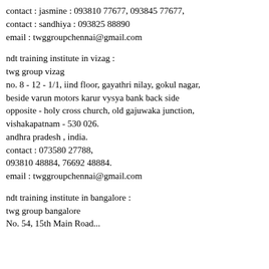contact : jasmine : 093810 77677, 093845 77677,
contact : sandhiya : 093825 88890
email : twggroupchennai@gmail.com
ndt training institute in vizag :
twg group vizag
no. 8 - 12 - 1/1, iind floor, gayathri nilay, gokul nagar,
beside varun motors karur vysya bank back side
opposite - holy cross church, old gajuwaka junction,
vishakapatnam - 530 026.
andhra pradesh , india.
contact : 073580 27788,
093810 48884, 76692 48884.
email : twggroupchennai@gmail.com
ndt training institute in bangalore :
twg group bangalore
No. 54, 15th Main Road...